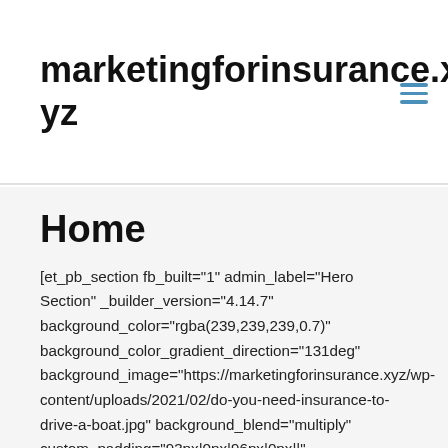marketingforinsurance.xyz
Home
[et_pb_section fb_built="1" admin_label="Hero Section" _builder_version="4.14.7" background_color="rgba(239,239,239,0.7)" background_color_gradient_direction="131deg" background_image="https://marketingforinsurance.xyz/wp-content/uploads/2021/02/do-you-need-insurance-to-drive-a-boat.jpg" background_blend="multiply" custom_padding="93px|0px|96px|0px||" animation_style="slide" animation_direction="top" animation_intensity_slide="2%" animation_starting_opacity="100%" global_colors_info="{}"